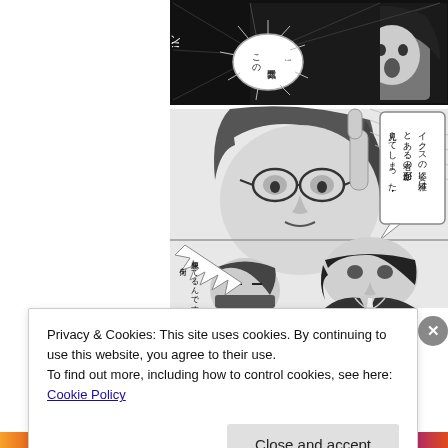[Figure (illustration): Manga/comic page showing anime-style characters in grayscale. Top panel shows a dramatic scene with characters and Japanese speech bubbles. Middle panel shows a character with glasses making a gesture with a speech bubble reading Japanese text about someone's appearance resembling another person. Bottom panel shows two characters, one smaller with a speech bubble in Japanese, one larger in a suit thinking with hand on chin.]
Privacy & Cookies: This site uses cookies. By continuing to use this website, you agree to their use.
To find out more, including how to control cookies, see here: Cookie Policy